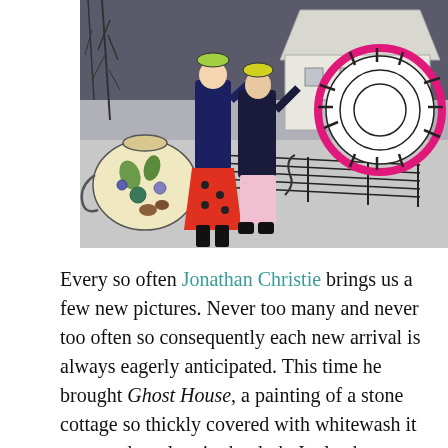[Figure (illustration): A colorful mixed-media collage painting featuring two figures dancing or posing in folk/vintage costumes against a grey background with a white cottage, bare trees, musical staff lines, and a large circular pink-rimmed decorative plate or drum on the right. A teapot decorated with leaves and circles is on the lower left.]
Every so often Jonathan Christie brings us a few new pictures. Never too many and never too often so consequently each new arrival is always eagerly anticipated. This time he brought Ghost House, a painting of a stone cottage so thickly covered with whitewash it appeared to glow in the dark. It also happens to be on Strumble Head, like Paul Finn's earlier